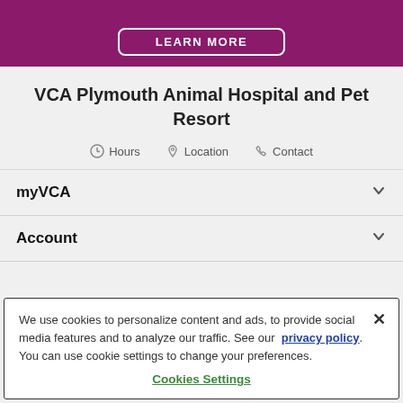[Figure (other): Purple/magenta banner with LEARN MORE button in white outlined rounded rectangle]
VCA Plymouth Animal Hospital and Pet Resort
Hours  Location  Contact
myVCA
Account
We use cookies to personalize content and ads, to provide social media features and to analyze our traffic. See our privacy policy. You can use cookie settings to change your preferences.
Cookies Settings